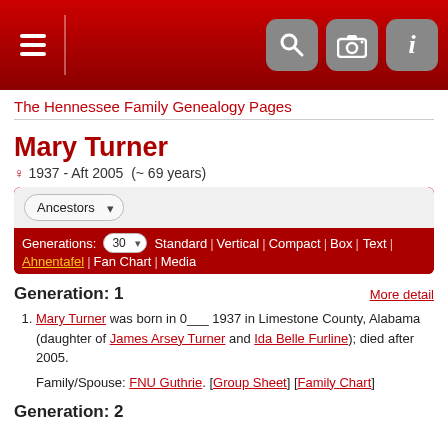The Hennessee Family Genealogy Pages
Mary Turner
♀ 1937 - Aft 2005  (~ 69 years)
Generation: 1
Mary Turner was born in 0___ 1937 in Limestone County, Alabama (daughter of James Arsey Turner and Ida Belle Furline); died after 2005.
Family/Spouse: FNU Guthrie. [Group Sheet] [Family Chart]
Generation: 2